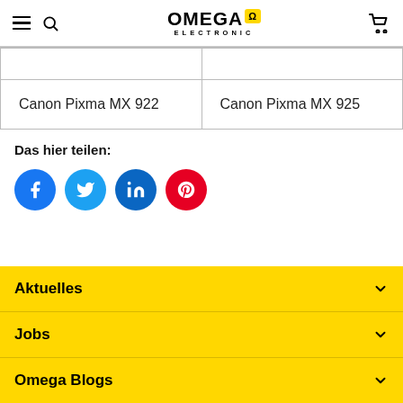Omega Electronic
| Canon Pixma MX 922 | Canon Pixma MX 925 |
Das hier teilen:
[Figure (other): Social share icons: Facebook (blue), Twitter (light blue), LinkedIn (dark blue), Pinterest (red)]
Aktuelles
Jobs
Omega Blogs